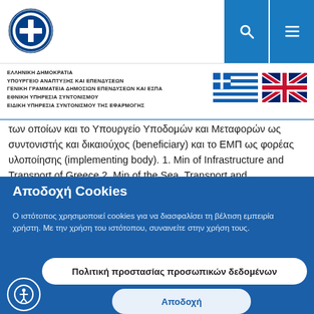[Figure (logo): Greek government emblem/seal, circular with coat of arms]
ΕΛΛΗΝΙΚΗ ΔΗΜΟΚΡΑΤΙΑ
ΥΠΟΥΡΓΕΙΟ ΑΝΑΠΤΥΞΗΣ ΚΑΙ ΕΠΕΝΔΥΣΕΩΝ
ΓΕΝΙΚΗ ΓΡΑΜΜΑΤΕΙΑ ΔΗΜΟΣΙΩΝ ΕΠΕΝΔΥΣΕΩΝ ΚΑΙ ΕΣΠΑ
ΕΘΝΙΚΗ ΥΠΗΡΕΣΙΑ ΣΥΝΤΟΝΙΣΜΟΥ
ΕΙΔΙΚΗ ΥΠΗΡΕΣΙΑ ΣΥΝΤΟΝΙΣΜΟΥ ΤΗΣ ΕΦΑΡΜΟΓΗΣ
[Figure (illustration): Greek flag and UK flag side by side]
των οποίων και το Υπουργείο Υποδομών και Μεταφορών ως συντονιστής και δικαιούχος (beneficiary) και το ΕΜΠ ως φορέας υλοποίησης (implementing body). 1. Min of Infrastructure and Transport of Greece 2. Min of the Sea, Transport and Infrastructure of Croatia 3. Min of Energy, Commerce, Industry and Tourism of Cyprus 4. Min of Transport and Communication of Finland 5. Direction Generale de L'Energie et du Climat- Ministère
Αποδοχή Cookies
Ο ιστότοπος χρησιμοποιεί cookies για να διασφαλίσει τη βέλτιση εμπειρία χρήστη. Με την χρήση του ιστότοπου, συναινείτε στην χρήση τους.
Πολιτική προστασίας προσωπικών δεδομένων
Αποδοχή